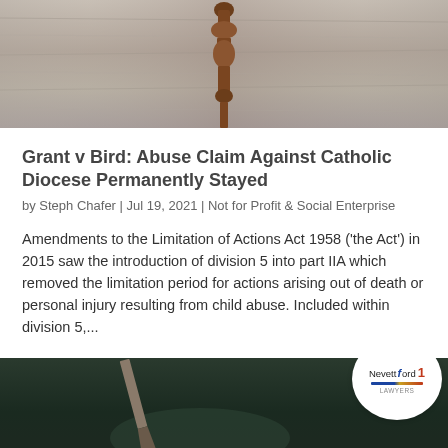[Figure (photo): Close-up photo of a wooden spindle or baluster against a grey wood-grain background]
Grant v Bird: Abuse Claim Against Catholic Diocese Permanently Stayed
by Steph Chafer | Jul 19, 2021 | Not for Profit & Social Enterprise
Amendments to the Limitation of Actions Act 1958 ('the Act') in 2015 saw the introduction of division 5 into part IIA which removed the limitation period for actions arising out of death or personal injury resulting from child abuse. Included within division 5,...
[Figure (photo): Dark background photo showing what appears to be a knife or blade, with Nevett Ford Lawyers logo badge overlay and Terms text]